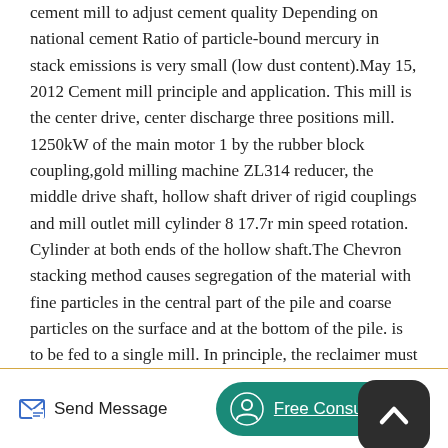cement mill to adjust cement quality Depending on national cement Ratio of particle-bound mercury in stack emissions is very small (low dust content).May 15, 2012 Cement mill principle and application. This mill is the center drive, center discharge three positions mill. 1250kW of the main motor 1 by the rubber block coupling,gold milling machine ZL314 reducer, the middle drive shaft, hollow shaft driver of rigid couplings and mill outlet mill cylinder 8 17.7r min speed rotation. Cylinder at both ends of the hollow shaft.The Chevron stacking method causes segregation of the material with fine particles in the central part of the pile and coarse particles on the surface and at the bottom of the pile. is to be fed to a single mill. In principle, the reclaimer must be equipped with speed regulated motor sand an integrated belt scale. Page 23 Clinker.
[Figure (other): Dark rounded square scroll-to-top button with white upward chevron arrow icon]
Send Message   Free Consultation